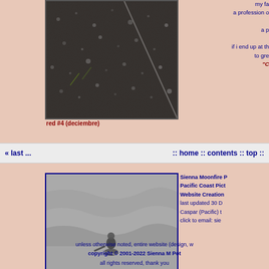[Figure (photo): Close-up photo of dark granular ground/soil with some plant stems visible]
red #4 (deciembre)
my fa... a profession o... a p... if i end up at th... to gre... "C...
« last ... :: home :: contents :: top ::
[Figure (photo): Black and white photo of a person wading in ocean/water]
Sienna Moonfire P... Pacific Coast Pict... Website Creation... last updated 30 D... Caspar (Pacific) t... click to email: sie...
unless otherwise noted, entire website (design, w... copyright © 2001-2022 Sienna M Pot... all rights reserved, thank you